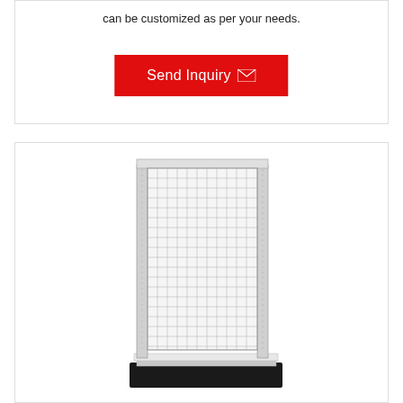can be customized as per your needs.
[Figure (other): Red 'Send Inquiry' button with envelope icon]
[Figure (illustration): Product illustration of a metal grid display stand/shelf unit with wire mesh panel and a black base shelf, shown in 3D perspective view]